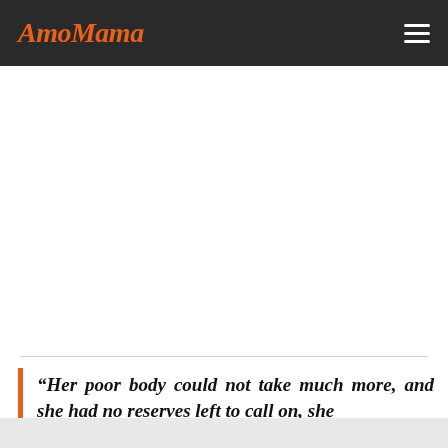AmoMama
“Her poor body could not take much more, and she had no reserves left to call on, she
[Figure (other): White empty content area below the header navigation bar]